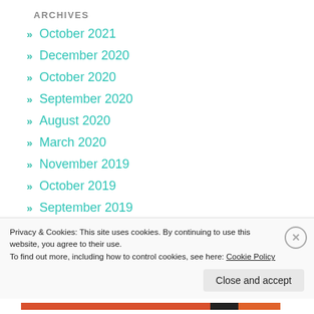ARCHIVES
» October 2021
» December 2020
» October 2020
» September 2020
» August 2020
» March 2020
» November 2019
» October 2019
» September 2019
» August 2019
Privacy & Cookies: This site uses cookies. By continuing to use this website, you agree to their use.
To find out more, including how to control cookies, see here: Cookie Policy
Close and accept